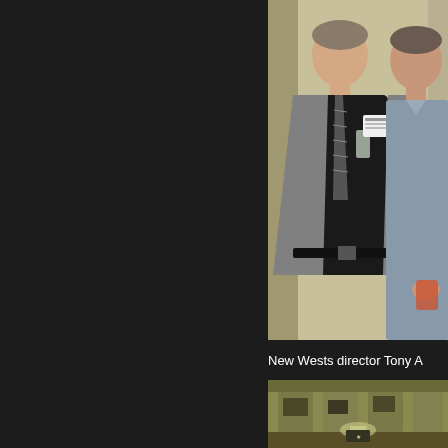[Figure (photo): Two men standing together at an event. The man on the left wears a grey blazer with a black shirt and striped tie, holding a glass. The man on the right wears a blue/grey striped shirt. Both have name tags. Indoor setting with cream/yellow walls.]
New Wests director Tony A
[Figure (photo): Interior photo showing a hallway or room with yellow-green walls and framed pictures, dimly lit.]